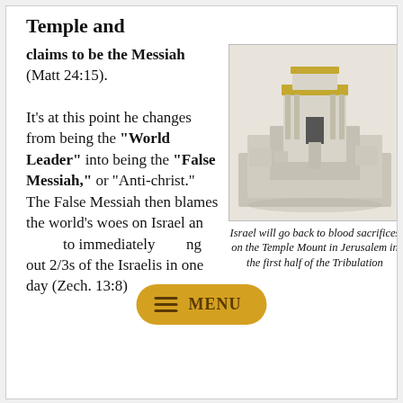Temple and claims to be the Messiah (Matt 24:15).
It's at this point he changes from being the "World Leader" into being the "False Messiah," or "Anti-christ." The False Messiah then blames the world's woes on Israel and seeks to immediately wiping out 2/3s of the Israelis in one day (Zech. 13:8).
[Figure (photo): A detailed scale model of the ancient Jewish Temple (Second Temple) in Jerusalem, shown in a 3/4 aerial perspective. The stone-colored model features a large central structure with columns and smaller surrounding buildings and courtyards.]
Israel will go back to blood sacrifices on the Temple Mount in Jerusalem in the first half of the Tribulation